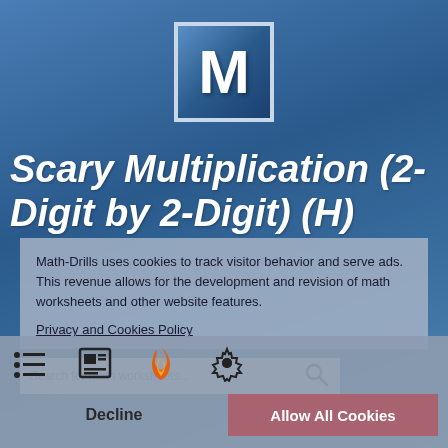[Figure (logo): Math-Drills logo: large white M letter inside a bordered square box with blue gradient background]
Scary Multiplication (2-Digit by 2-Digit) (H)
Math-Drills uses cookies to track visitor behavior and serve ads. This revenue allows for the development and revision of math worksheets and other website features.
Privacy and Cookies Policy
Search for math worksheets...
Decline
Allow All Cookies